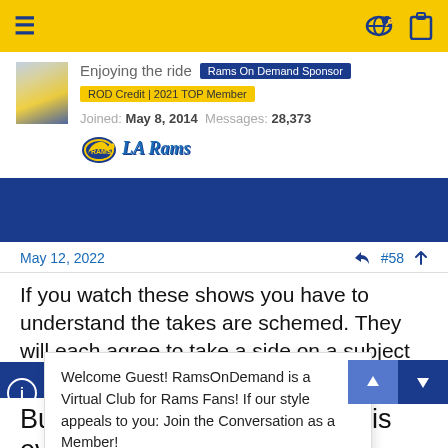Navigation bar with hamburger menu and icons
Enjoying the ride
Rams On Demand Sponsor
ROD Credit | 2021 TOP Member
Joined: May 8, 2014  Messages: 28,373
May 12, 2022  #58
If you watch these shows you have to understand the takes are schemed. They will each agree to take a side on a subject and argue it. Which means they're not necessarily thinking that in truth, they're
Welcome Guest! RamsOnDemand is a Virtual Club for Rams Fans! If our style appeals to you: Join the Conversation as a Member!
his hand is out ba
But I've never been a fan of his even